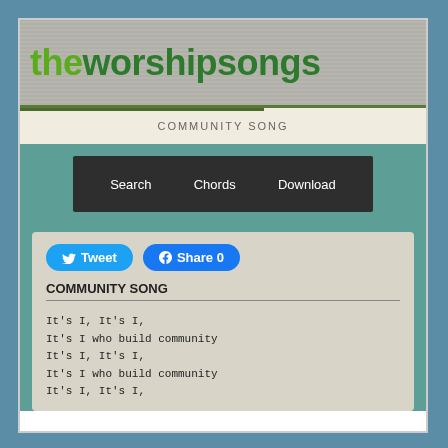theworshipsongs
COMMUNITY SONG
Search   Chords   Download
Tweet   Share 0
COMMUNITY SONG
It's I, It's I,
It's I who build community
It's I, It's I,
It's I who build community
It's I, It's I,